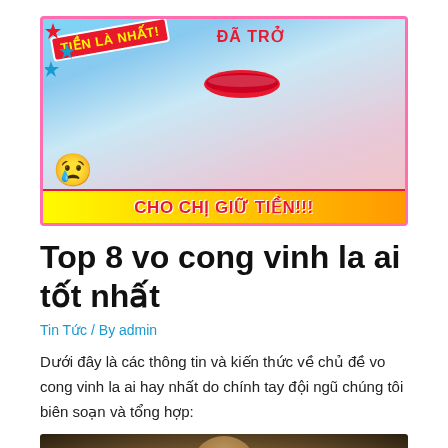[Figure (photo): Thumbnail image showing a woman and a man smiling, with colorful Vietnamese text overlays reading 'TIỀN LÀ NHẤT!' at top left and 'CHO CHỊ GIỮ TIỀN!!!' at the bottom on a yellow-red banner. There is a crying emoji on the bottom left.]
Top 8 vo cong vinh la ai tốt nhất
Tin Tức / By admin
Dưới đây là các thông tin và kiến thức về chủ đề vo cong vinh la ai hay nhất do chính tay đội ngũ chúng tôi biên soạn và tổng hợp:
[Figure (photo): Partial photo showing a person's face/upper body in dim lighting, appears to be the start of the next article's thumbnail image.]